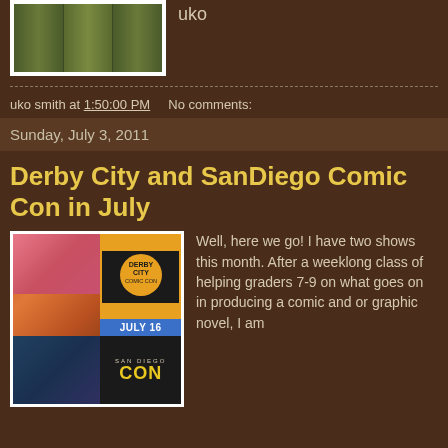[Figure (photo): Partial image of curtains or drapes in olive/green tones, shown inside a white-bordered frame]
uko
uko smith at 1:50:00 PM    No comments:
Sunday, July 3, 2011
Derby City and SanDiego Comic Con in July
[Figure (photo): Composite image showing a comic book character on the left and Derby City Comic Con / San Diego Comic Con logos on the right, with July 16 date shown]
Well, here we go! I have two shows this month. After a weeklong class of helping graders 7-9 on what goes on in producing a comic and or graphic novel, I am